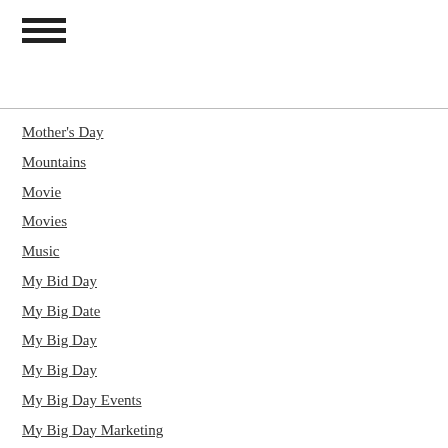[Figure (other): Hamburger menu icon with three horizontal lines]
Mother's Day
Mountains
Movie
Movies
Music
My Bid Day
My Big Date
My Big Day
My Big Day
My Big Day Events
My Big Day Marketing
National
News
New Year
New Year's Eve
NightLights